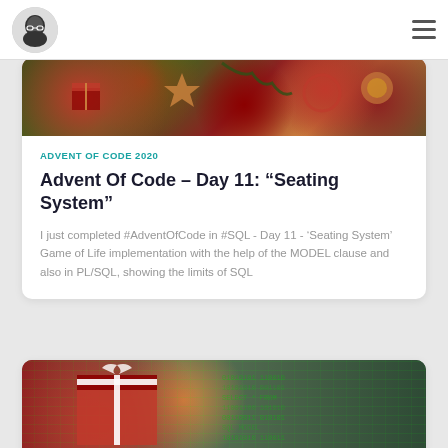Blog navigation header with logo and menu
[Figure (photo): Christmas/holiday themed banner photo with gifts, stars, red ribbons and pine decorations]
ADVENT OF CODE 2020
Advent Of Code – Day 11: “Seating System”
I just completed #AdventOfCode in #SQL - Day 11 - 'Seating System' Game of Life implementation with the help of the MODEL clause and also in PL/SQL, showing the limits of SQL
[Figure (photo): Second Christmas themed banner with red gift boxes and matrix/code overlay on dark background]